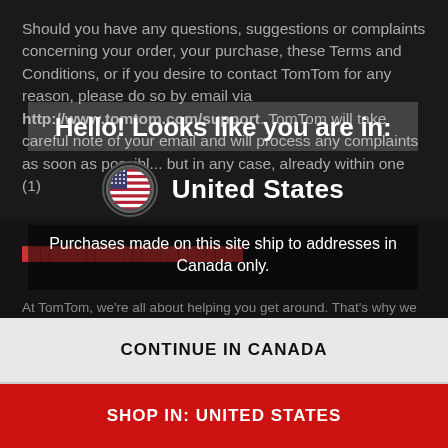Should you have any questions, suggestions or complaints concerning your order, your purchase, these Terms and Conditions, or if you desire to contact TomTom for any reason, please do so by email via http://www.tomtom.com/support. TomTom will take careful note of your email and will process any complaints as soon as possible, but in any case, already within one (1)
Hello! Looks like you are in:
[Figure (illustration): US flag emoji in a circular border]
United States
Purchases made on this site ship to addresses in Canada only.
At TomTom, we're all about helping you get around. That's why we use cookies to improve our sites, to improve your browsing experience, to offer social media functionalities, to streamline and personalize our marketing content and to show you personalized advertisements based on your interests (including on third party websites). You can change
CONTINUE IN CANADA
SHOP IN: UNITED STATES